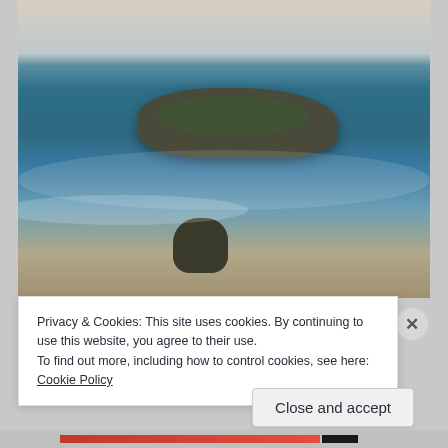[Figure (photo): Vintage-toned photograph of ocean waves crashing around a rocky outcropping/jetty in the sea, with a sandy/rocky foreground and clear sky, taken from the beach.]
Privacy & Cookies: This site uses cookies. By continuing to use this website, you agree to their use.
To find out more, including how to control cookies, see here: Cookie Policy